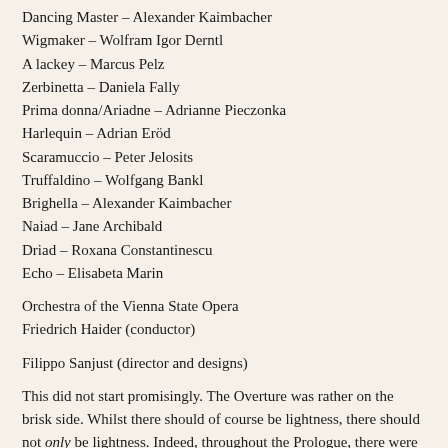Dancing Master – Alexander Kaimbacher
Wigmaker – Wolfram Igor Derntl
A lackey – Marcus Pelz
Zerbinetta – Daniela Fally
Prima donna/Ariadne – Adrianne Pieczonka
Harlequin – Adrian Eröd
Scaramuccio – Peter Jelosits
Truffaldino – Wolfgang Bankl
Brighella – Alexander Kaimbacher
Naiad – Jane Archibald
Driad – Roxana Constantinescu
Echo – Elisabeta Marin
Orchestra of the Vienna State Opera
Friedrich Haider (conductor)
Filippo Sanjust (director and designs)
This did not start promisingly. The Overture was rather on the brisk side. Whilst there should of course be lightness, there should not only be lightness. Indeed, throughout the Prologue, there were problems with balance and a lack of depth to the orchestral sound,